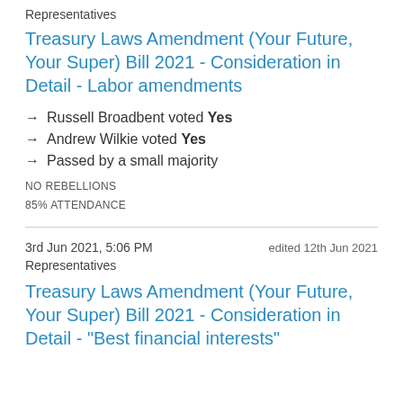Representatives
Treasury Laws Amendment (Your Future, Your Super) Bill 2021 - Consideration in Detail - Labor amendments
→ Russell Broadbent voted Yes
→ Andrew Wilkie voted Yes
→ Passed by a small majority
NO REBELLIONS
85% ATTENDANCE
3rd Jun 2021, 5:06 PM    edited 12th Jun 2021
Representatives
Treasury Laws Amendment (Your Future, Your Super) Bill 2021 - Consideration in Detail - "Best financial interests"